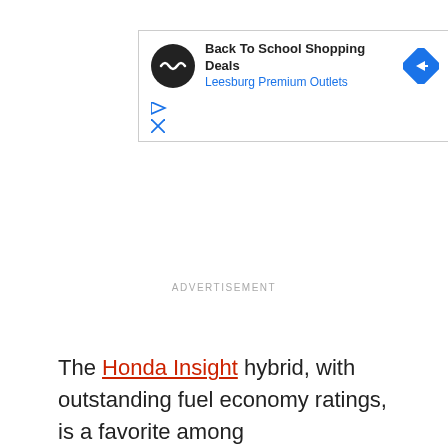[Figure (other): Advertisement banner for Leesburg Premium Outlets Back To School Shopping Deals, with a black circular logo with infinity/arrow symbol, blue diamond navigation icon, play and close buttons below]
ADVERTISEMENT
The Honda Insight hybrid, with outstanding fuel economy ratings, is a favorite among